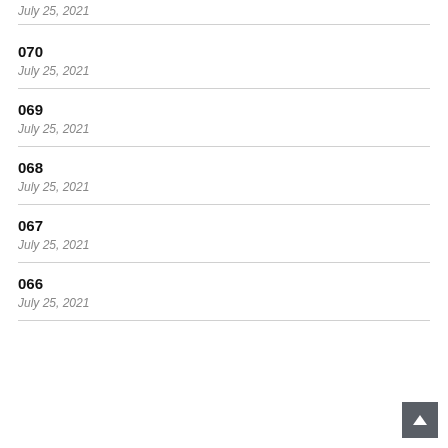July 25, 2021
070
July 25, 2021
069
July 25, 2021
068
July 25, 2021
067
July 25, 2021
066
July 25, 2021